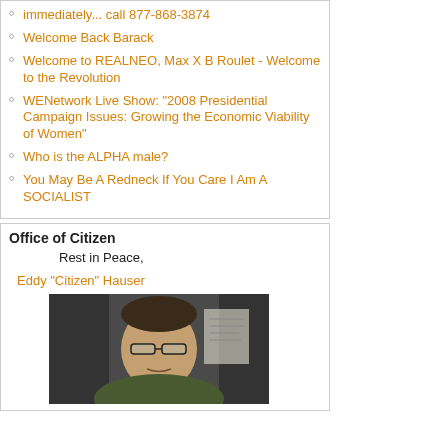immediately... call 877-868-3874
Welcome Back Barack
Welcome to REALNEO, Max X B Roulet - Welcome to the Revolution
WENetwork Live Show: "2008 Presidential Campaign Issues: Growing the Economic Viability of Women"
Who is the ALPHA male?
You May Be A Redneck If You Care I Am A SOCIALIST
Office of Citizen
Rest in Peace,
Eddy "Citizen" Hauser
[Figure (photo): Photo of Eddy Citizen Hauser, a man with glasses, shown from shoulders up in front of a dark background]